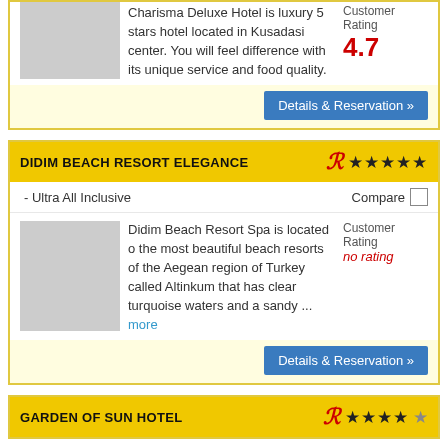Charisma Deluxe Hotel is luxury 5 stars hotel located in Kusadasi center. You will feel difference with its unique service and food quality.
Customer Rating 4.7
Details & Reservation »
DIDIM BEACH RESORT ELEGANCE
- Ultra All Inclusive
Compare
Didim Beach Resort Spa is located o the most beautiful beach resorts of the Aegean region of Turkey called Altinkum that has clear turquoise waters and a sandy ... more
Customer Rating no rating
Details & Reservation »
GARDEN OF SUN HOTEL